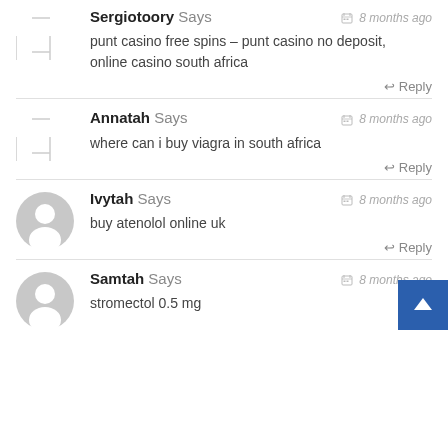Sergiotoory Says — 8 months ago
punt casino free spins – punt casino no deposit, online casino south africa
Reply
Annatah Says — 8 months ago
where can i buy viagra in south africa
Reply
Ivytah Says — 8 months ago
buy atenolol online uk
Reply
Samtah Says — 8 months ago
stromectol 0.5 mg